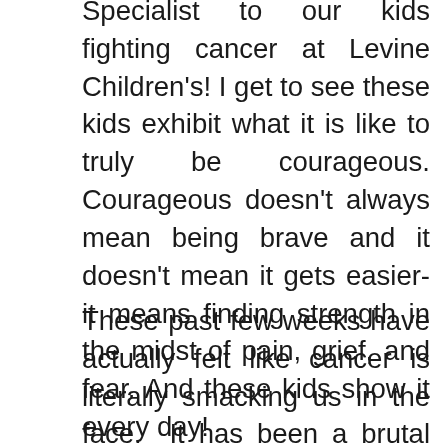Specialist to our kids fighting cancer at Levine Children's! I get to see these kids exhibit what it is like to truly be courageous. Courageous doesn't always mean being brave and it doesn't mean it gets easier-it means finding strength in the midst of pain, grief, and fear. And these kids show it every day!
These past few weeks have actually felt like cancer is literally smacking us in the face.  It has been a brutal time for our team as we witness cancer striking time and time again. During these emotional times, I remind myself to focus on my